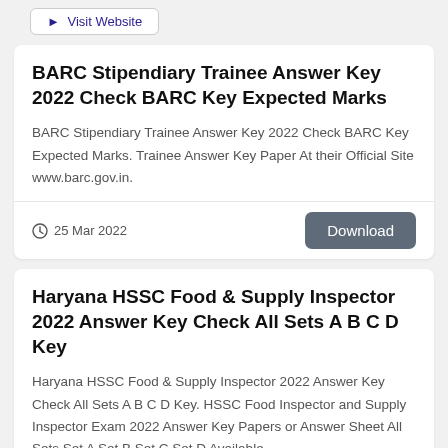► Visit Website
BARC Stipendiary Trainee Answer Key 2022 Check BARC Key Expected Marks
BARC Stipendiary Trainee Answer Key 2022 Check BARC Key Expected Marks. Trainee Answer Key Paper At their Official Site www.barc.gov.in.
25 Mar 2022
Download
Haryana HSSC Food & Supply Inspector 2022 Answer Key Check All Sets A B C D Key
Haryana HSSC Food & Supply Inspector 2022 Answer Key Check All Sets A B C D Key. HSSC Food Inspector and Supply Inspector Exam 2022 Answer Key Papers or Answer Sheet All Sets Set A Set B Set C Set D Available